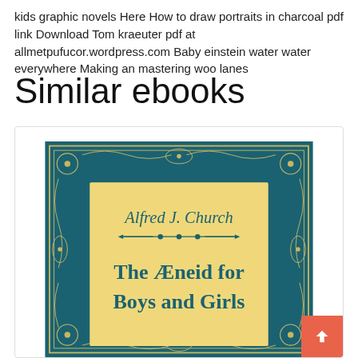kids graphic novels Here How to draw portraits in charcoal pdf link Download Tom kraeuter pdf at allmetpufucor.wordpress.com Baby einstein water water everywhere Making an mastering woo lanes
Similar ebooks
[Figure (illustration): Book cover of 'The Aeneid for Boys and Girls' by Alfred J. Church. Teal/dark blue background with gold ornamental floral border. Central yellow/cream panel with the author name 'Alfred J. Church' in serif font, a decorative horizontal rule with dots, and the title 'The Aeneid for Boys and Girls' in large serif font with small caps.]